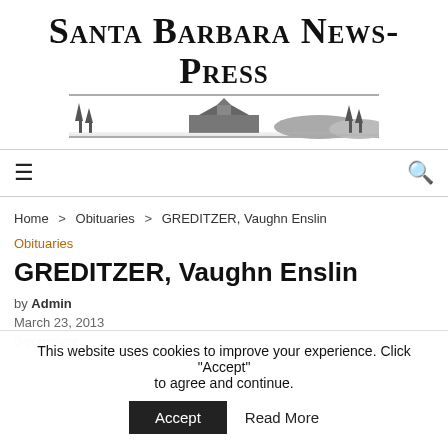[Figure (logo): Santa Barbara News-Press masthead with large serif small-caps title text and a horizontal illustration of a coastal landscape with buildings and trees]
≡  🔍
Home > Obituaries > GREDITZER, Vaughn Enslin
Obituaries
GREDITZER, Vaughn Enslin
by Admin
March 23, 2013
0 comment
This website uses cookies to improve your experience. Click "Accept" to agree and continue.  Accept  Read More